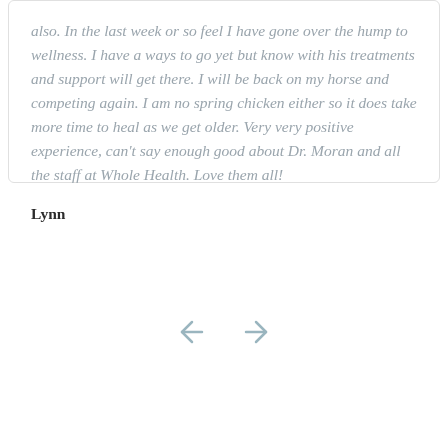also. In the last week or so feel I have gone over the hump to wellness. I have a ways to go yet but know with his treatments and support will get there. I will be back on my horse and competing again. I am no spring chicken either so it does take more time to heal as we get older. Very very positive experience, can't say enough good about Dr. Moran and all the staff at Whole Health. Love them all!
Lynn
[Figure (other): Navigation arrows (left and right) for a testimonial carousel]